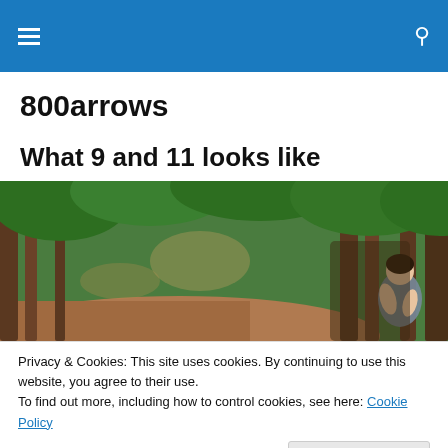800arrows — navigation header with hamburger menu and search icon
800arrows
What 9 and 11 looks like
[Figure (photo): A person sitting in a forest on a dirt path surrounded by trees and dappled sunlight]
Privacy & Cookies: This site uses cookies. By continuing to use this website, you agree to their use.
To find out more, including how to control cookies, see here: Cookie Policy
Close and accept
[Figure (photo): Partial image visible at the bottom of the page showing orange tones, possibly people or objects outdoors]